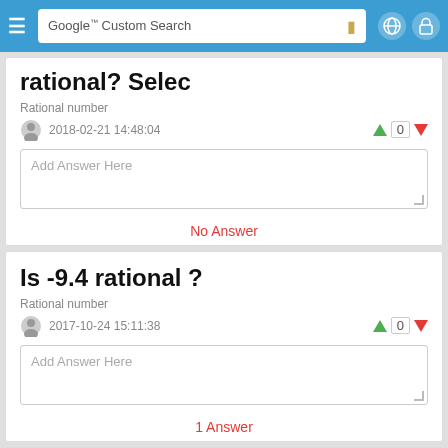Google Custom Search
rational? Selec
Rational number
2018-02-21 14:48:04
Add Answer Here
No Answer
Is -9.4 rational ?
Rational number
2017-10-24 15:11:38
Add Answer Here
1 Answer
How do you determine a rational